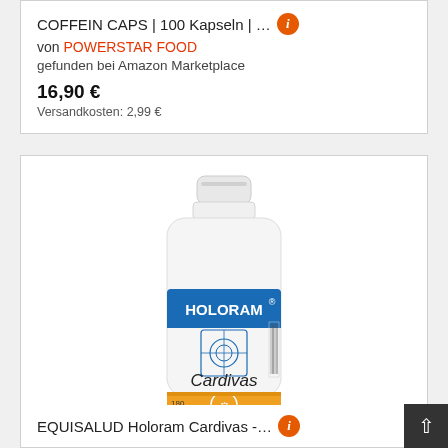COFFEIN CAPS | 100 Kapseln | …
von POWERSTAR FOOD
gefunden bei Amazon Marketplace
16,90 €
Versandkosten: 2,99 €
[Figure (photo): White supplement bottle labeled HOLORAM Cardivas by Equisalud, with blue band and orange label at bottom]
EQUISALUD Holoram Cardivas -…